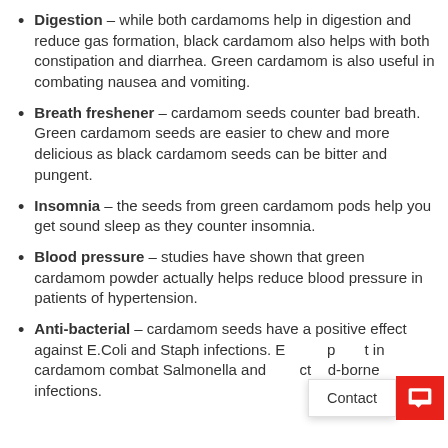Digestion – while both cardamoms help in digestion and reduce gas formation, black cardamom also helps with both constipation and diarrhea. Green cardamom is also useful in combating nausea and vomiting.
Breath freshener – cardamom seeds counter bad breath. Green cardamom seeds are easier to chew and more delicious as black cardamom seeds can be bitter and pungent.
Insomnia – the seeds from green cardamom pods help you get sound sleep as they counter insomnia.
Blood pressure – studies have shown that green cardamom powder actually helps reduce blood pressure in patients of hypertension.
Anti-bacterial – cardamom seeds have a positive effect against E.Coli and Staph infections. E... p...t in cardamom combat Salmonella and ...ct...d-borne infections.